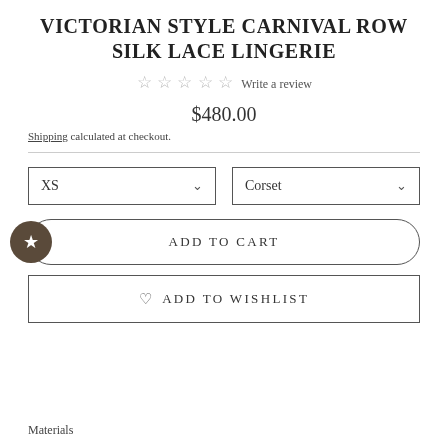VICTORIAN STYLE CARNIVAL ROW SILK LACE LINGERIE
☆ ☆ ☆ ☆ ☆ Write a review
$480.00
Shipping calculated at checkout.
XS (dropdown) | Corset (dropdown)
ADD TO CART
♡ ADD TO WISHLIST
Materials